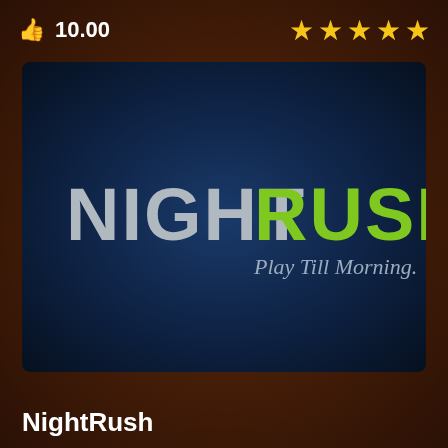10.00
[Figure (logo): NightRush casino logo on dark navy background with text NIGHT RUSH and tagline Play Till Morning.]
NightRush